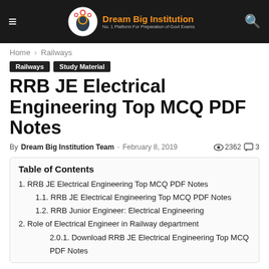Dream Big Institution — No. 1 Platform For Preparation of Govt Exams
Home › Railways
Railways | Study Material
RRB JE Electrical Engineering Top MCQ PDF Notes
By Dream Big Institution Team - February 8, 2019  2362  3
| Table of Contents |
| --- |
| 1. RRB JE Electrical Engineering Top MCQ PDF Notes |
| 1.1. RRB JE Electrical Engineering Top MCQ PDF Notes |
| 1.2. RRB Junior Engineer: Electrical Engineering |
| 2. Role of Electrical Engineer in Railway department |
| 2.0.1. Download RRB JE Electrical Engineering Top MCQ PDF Notes |